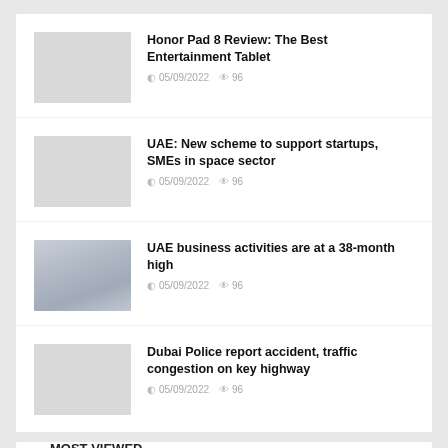Honor Pad 8 Review: The Best Entertainment Tablet — 05/09/2022 — 96 views
UAE: New scheme to support startups, SMEs in space sector — 05/09/2022 — 96 views
UAE business activities are at a 38-month high — 05/09/2022 — 96 views
Dubai Police report accident, traffic congestion on key highway — 05/09/2022 — 96 views
MOST VIEWED